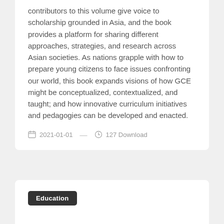contributors to this volume give voice to scholarship grounded in Asia, and the book provides a platform for sharing different approaches, strategies, and research across Asian societies. As nations grapple with how to prepare young citizens to face issues confronting our world, this book expands visions of how GCE might be conceptualized, contextualized, and taught; and how innovative curriculum initiatives and pedagogies can be developed and enacted.
2021-01-01  —  127 Download
Education